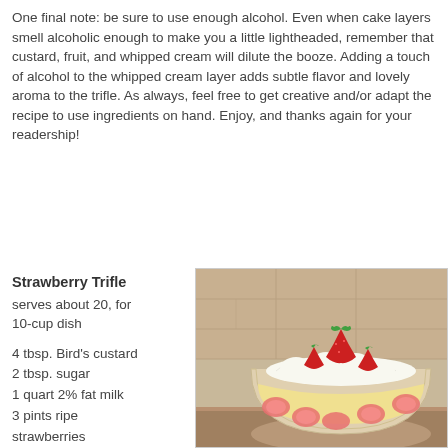One final note: be sure to use enough alcohol. Even when cake layers smell alcoholic enough to make you a little lightheaded, remember that custard, fruit, and whipped cream will dilute the booze. Adding a touch of alcohol to the whipped cream layer adds subtle flavor and lovely aroma to the trifle. As always, feel free to get creative and/or adapt the recipe to use ingredients on hand. Enjoy, and thanks again for your readership!
Strawberry Trifle
serves about 20, for 10-cup dish
4 tbsp. Bird's custard
2 tbsp. sugar
1 quart 2% fat milk
3 pints ripe strawberries
4 dozen ladyfinger biscuits (1 package) or ladyfingers
[Figure (photo): Photo of a strawberry trifle in a glass bowl, showing layers of custard and strawberries visible through the glass, topped with whipped cream and fresh strawberries.]